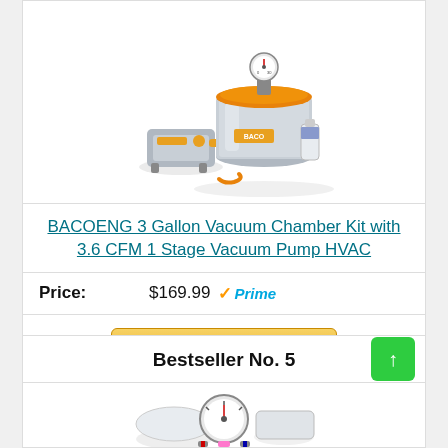[Figure (photo): BACOENG 3 Gallon Vacuum Chamber Kit product photo showing a stainless steel chamber with orange lid, vacuum gauge on top, and vacuum pump with orange accents, plus accessories including tubing and oil bottle]
BACOENG 3 Gallon Vacuum Chamber Kit with 3.6 CFM 1 Stage Vacuum Pump HVAC
Price: $169.99 Prime
Buy on Amazon
Bestseller No. 5
[Figure (photo): Partial product photo of another vacuum chamber kit showing gauge and components]